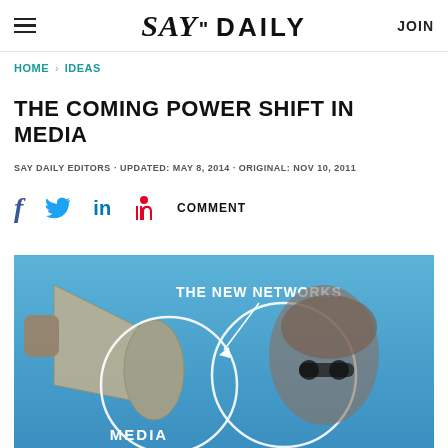SAY" DAILY | JOIN
HOME > IDEAS
THE COMING POWER SHIFT IN MEDIA
SAY DAILY EDITORS · UPDATED: MAY 8, 2014 · ORIGINAL: NOV 10, 2011
f  [twitter]  in  [pinterest]  COMMENT
[Figure (illustration): Venn diagram illustration showing two overlapping circles labeled 'MEDIA' and another label, with 'THE NEW NETWORKS' text at top and arrow pointing down, overlaid on a blue-sky background with a person wearing sunglasses and a megaphone/loudspeaker visible]